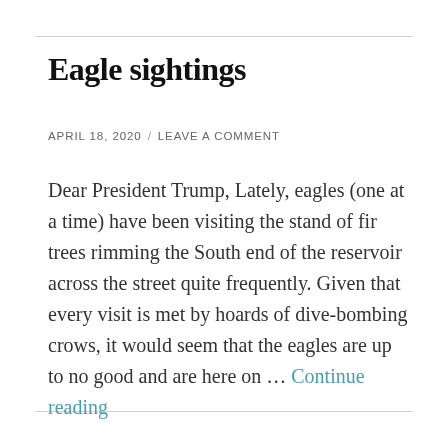Eagle sightings
APRIL 18, 2020  /  LEAVE A COMMENT
Dear President Trump, Lately, eagles (one at a time) have been visiting the stand of fir trees rimming the South end of the reservoir across the street quite frequently. Given that every visit is met by hoards of dive-bombing crows, it would seem that the eagles are up to no good and are here on … Continue reading